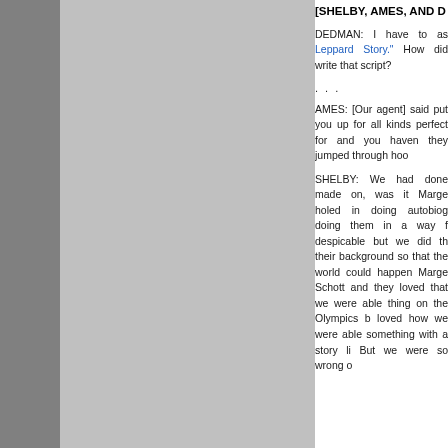[SHELBY, AMES, AND D
DEDMAN: I have to as Leppard Story." How did write that script?
. . .
AMES: [Our agent] said put you up for all kinds perfect for and you haven they jumped through hoo
SHELBY: We had done made on, was it Marge holed in doing autobiog doing them in a way f despicable but we did th their background so that the world could happen Marge Schott and they loved that we were able thing on the Olympics b loved how we were able something with a story li But we were so wrong o